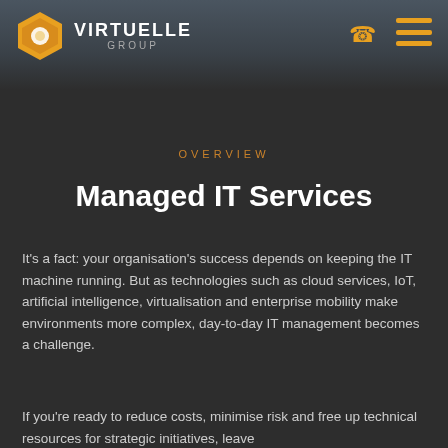[Figure (logo): Virtuelle Group logo with golden hexagon icon and white text reading VIRTUELLE GROUP]
OVERVIEW
Managed IT Services
It's a fact: your organisation's success depends on keeping the IT machine running. But as technologies such as cloud services, IoT, artificial intelligence, virtualisation and enterprise mobility make environments more complex, day-to-day IT management becomes a challenge.
If you're ready to reduce costs, minimise risk and free up technical resources for strategic initiatives, leave